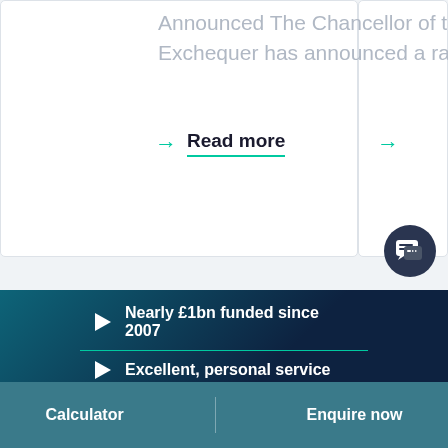Announced The Chancellor of the Exchequer has announced a rang...
Read more
Nearly £1bn funded since 2007
Excellent, personal service
Both a lender and broker
Calculator
Enquire now